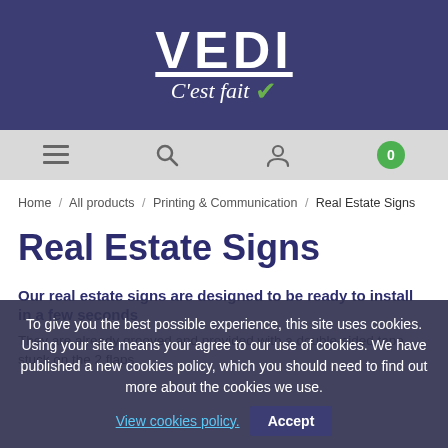[Figure (logo): VEDI C'est fait logo with white text on dark blue/indigo background, green checkmark]
Navigation bar with menu, search, account, and cart (0) icons
Home / All products / Printing & Communication / Real Estate Signs
Real Estate Signs
Our real estate signs are designed to be ready to install in a few seconds
They are already grooved and provided with a double-sided tape stuck on the 2 flaps.
To give you the best possible experience, this site uses cookies. Using your site means your agree to our use of cookies. We have published a new cookies policy, which you should need to find out more about the cookies we use. View cookies policy. Accept